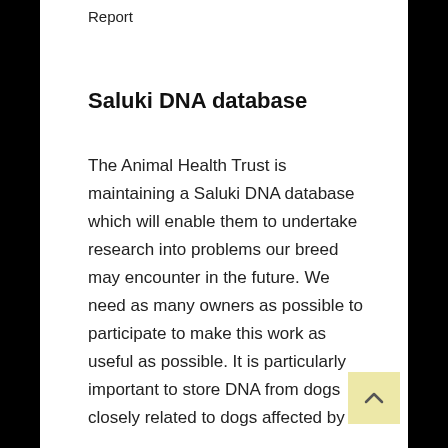Report
Saluki DNA database
The Animal Health Trust is maintaining a Saluki DNA database which will enable them to undertake research into problems our breed may encounter in the future. We need as many owners as possible to participate to make this work as useful as possible. It is particularly important to store DNA from dogs closely related to dogs affected by a